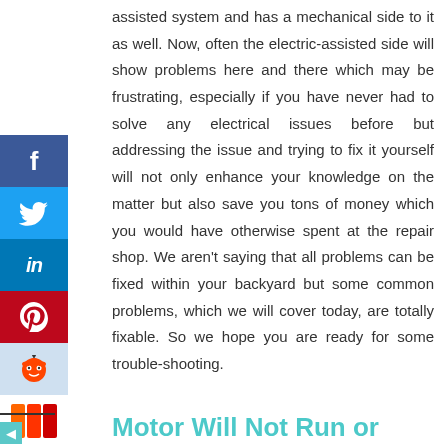assisted system and has a mechanical side to it as well. Now, often the electric-assisted side will show problems here and there which may be frustrating, especially if you have never had to solve any electrical issues before but addressing the issue and trying to fix it yourself will not only enhance your knowledge on the matter but also save you tons of money which you would have otherwise spent at the repair shop. We aren't saying that all problems can be fixed within your backyard but some common problems, which we will cover today, are totally fixable. So we hope you are ready for some trouble-shooting.
Motor Will Not Run or Run...